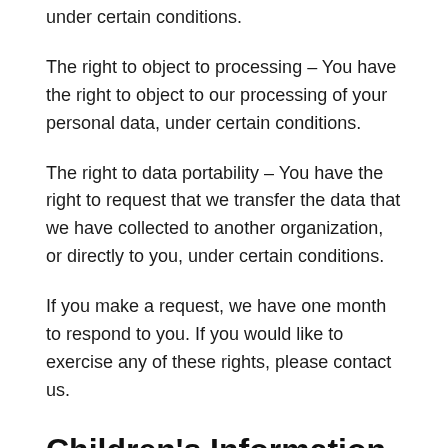under certain conditions.
The right to object to processing – You have the right to object to our processing of your personal data, under certain conditions.
The right to data portability – You have the right to request that we transfer the data that we have collected to another organization, or directly to you, under certain conditions.
If you make a request, we have one month to respond to you. If you would like to exercise any of these rights, please contact us.
Children's Information
Another part of our priority is adding protection for children